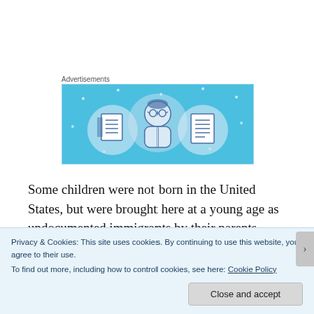Advertisements
[Figure (illustration): Advertisement banner with light blue background showing three illustrated icons: a notebook, a person with glasses, and a lined document/list.]
Some children were not born in the United States, but were brought here at a young age as undocumented immigrants by their parents. Obviously, they had not been the ones to decide that
Privacy & Cookies: This site uses cookies. By continuing to use this website, you agree to their use.
To find out more, including how to control cookies, see here: Cookie Policy
Close and accept